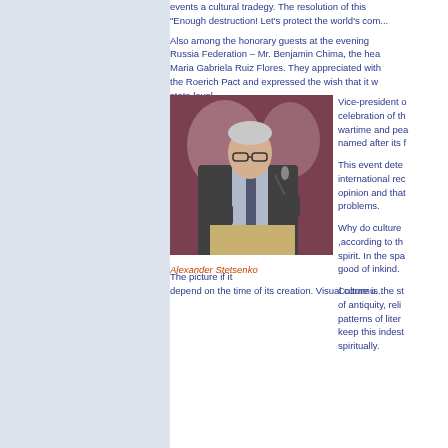events a cultural tradegy. The resolution of this "Enough destruction! Let's protect the world's com...
Also among the honorary guests at the evening Russia Federation – Mr. Benjamin Chima, the hea Maria Gabriela Ruiz Flores. They appreciated with the Roerich Pact and expressed the wish that it w state level.
[Figure (photo): Man in suit standing at a podium with a microphone, speaking at an event. Background shows decorative arched wall in dark red/maroon color.]
Alexander Stetsenko
Vice-president o celebration of th wartime and pea named after its f
This event dete international rec opinion and that problems.
Why do culture ,according to th spirit. In the spa good of inkind.
Culture is the st of antiquity, reli patterns of liter keep this indest spiritually.
The picture if it depend on the time of its creation. Visual commu...